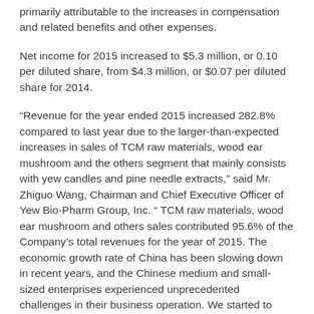primarily attributable to the increases in compensation and related benefits and other expenses.
Net income for 2015 increased to $5.3 million, or 0.10 per diluted share, from $4.3 million, or $0.07 per diluted share for 2014.
“Revenue for the year ended 2015 increased 282.8% compared to last year due to the larger-than-expected increases in sales of TCM raw materials, wood ear mushroom and the others segment that mainly consists with yew candles and pine needle extracts,” said Mr. Zhiguo Wang, Chairman and Chief Executive Officer of Yew Bio-Pharm Group, Inc. “ TCM raw materials, wood ear mushroom and others sales contributed 95.6% of the Company’s total revenues for the year of 2015. The economic growth rate of China has been slowing down in recent years, and the Chinese medium and small-sized enterprises experienced unprecedented challenges in their business operation. We started to combat this downward